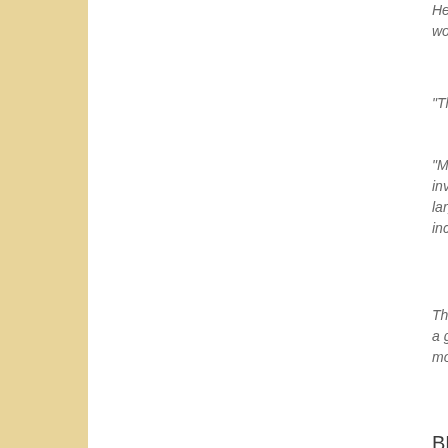He said... worst ex...
"The UK...
"Most ov... investors... largest d... including...
This hea... a genuin... money.
BBC
Simon Jac...
Posted by
Wednesday